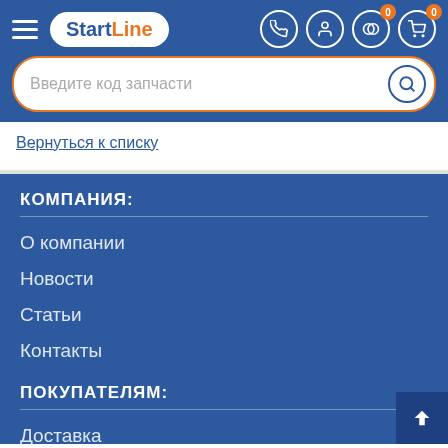[Figure (screenshot): Start Line website header with hamburger menu, logo, phone icon, user icon, compare (0) and cart (0) icons]
Введите код запчасти
Вернуться к списку
КОМПАНИЯ:
О компании
Новости
Статьи
Контакты
ПОКУПАТЕЛЯМ:
Доставка
Оплата